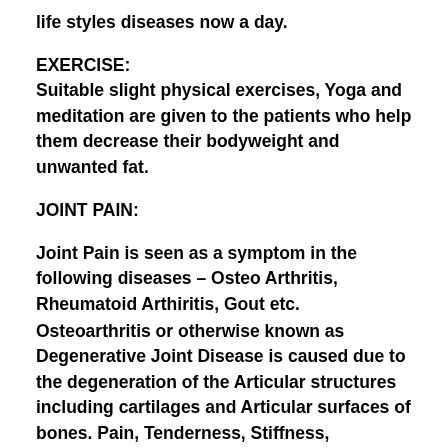life styles diseases now a day.
EXERCISE:
Suitable slight physical exercises, Yoga and meditation are given to the patients who help them decrease their bodyweight and unwanted fat.
JOINT PAIN:
Joint Pain is seen as a symptom in the following diseases – Osteo Arthritis, Rheumatoid Arthiritis, Gout etc.
Osteoarthritis or otherwise known as Degenerative Joint Disease is caused due to the degeneration of the Articular structures including cartilages and Articular surfaces of bones. Pain, Tenderness, Stiffness, Inflammation,